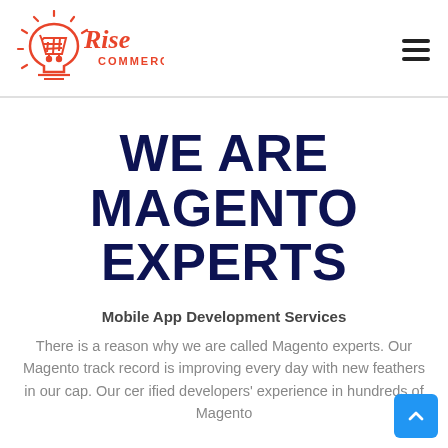Rise Commerce logo and navigation menu
WE ARE MAGENTO EXPERTS
Mobile App Development Services
There is a reason why we are called Magento experts. Our Magento track record is improving every day with new feathers in our cap. Our certified developers' experience in hundreds of Magento